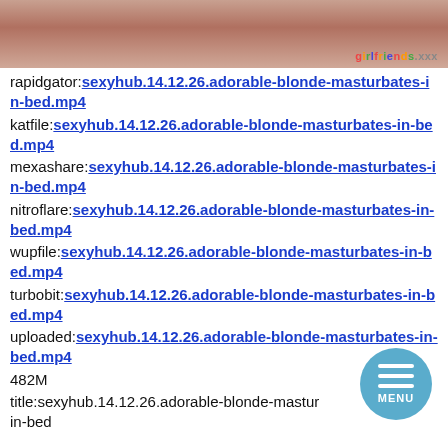[Figure (photo): Cropped photo with girlfriends.xxx watermark in bottom right corner]
rapidgator:sexyhub.14.12.26.adorable-blonde-masturbates-in-bed.mp4
katfile:sexyhub.14.12.26.adorable-blonde-masturbates-in-bed.mp4
mexashare:sexyhub.14.12.26.adorable-blonde-masturbates-in-bed.mp4
nitroflare:sexyhub.14.12.26.adorable-blonde-masturbates-in-bed.mp4
wupfile:sexyhub.14.12.26.adorable-blonde-masturbates-in-bed.mp4
turbobit:sexyhub.14.12.26.adorable-blonde-masturbates-in-bed.mp4
uploaded:sexyhub.14.12.26.adorable-blonde-masturbates-in-bed.mp4
482M
title:sexyhub.14.12.26.adorable-blonde-masturbates-in-bed